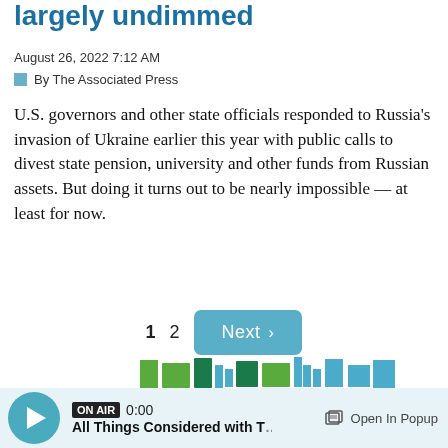largely undimmed
August 26, 2022 7:12 AM
By The Associated Press
U.S. governors and other state officials responded to Russia's invasion of Ukraine earlier this year with public calls to divest state pension, university and other funds from Russian assets. But doing it turns out to be nearly impossible — at least for now.
[Figure (other): Pagination controls showing page 1 (bold), page 2, and a teal Next button with chevron]
[Figure (logo): Radio show logo/promotional banner with colorful stacked bar-like text graphic for a season]
ON AIR 0:00 All Things Considered with T… Open In Popup